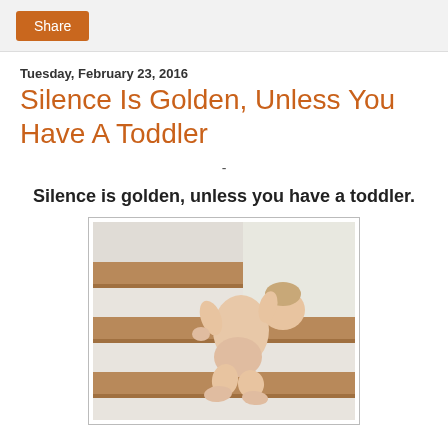Share
Tuesday, February 23, 2016
Silence Is Golden, Unless You Have A Toddler
-
Silence is golden, unless you have a toddler.
[Figure (photo): A naked toddler climbing up white-painted wooden stairs, viewed from behind.]